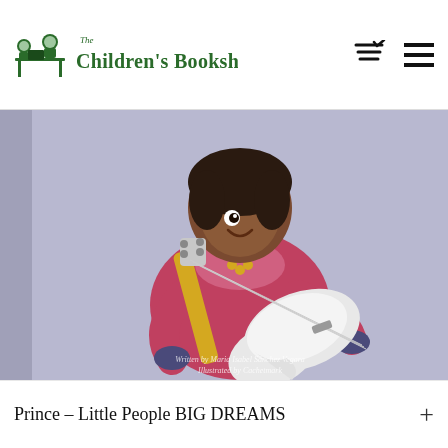[Figure (logo): The Children's Bookshop logo with green illustrated children and green serif text reading 'The Children's Bookshop']
[Figure (illustration): Book cover for 'Prince – Little People BIG DREAMS' showing an illustrated cartoon child with dark hair playing a white electric guitar, wearing a pink/red outfit, on a lavender/purple background. Text at bottom: 'Written by Maria Isabel Sánchez Vegara, Illustrated by Cachetmark']
Prince – Little People BIG DREAMS